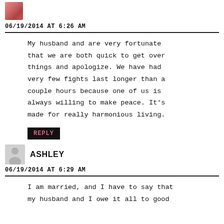[Figure (photo): Small avatar image of a person, partially visible at top]
06/19/2014 AT 6:26 AM
My husband and are very fortunate that we are both quick to get over things and apologize. We have had very few fights last longer than a couple hours because one of us is always willing to make peace. It’s made for really harmonious living.
REPLY
[Figure (illustration): Generic grey avatar silhouette for user Ashley]
ASHLEY
06/19/2014 AT 6:29 AM
I am married, and I have to say that my husband and I owe it all to good